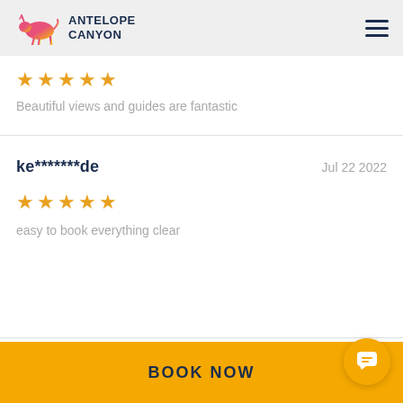ANTELOPE CANYON
★★★★★
Beautiful views and guides are fantastic
ke*******de   Jul 22 2022
★★★★★
easy to book everything clear
BOOK NOW